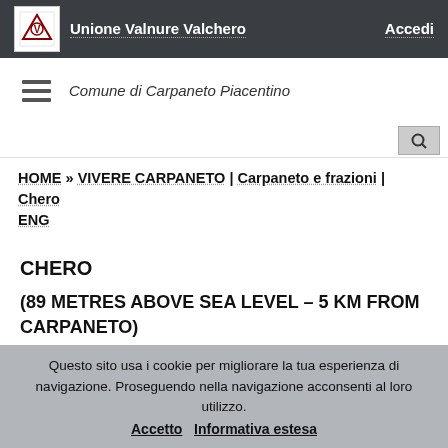Unione Valnure Valchero | Accedi
Comune di Carpaneto Piacentino
HOME » VIVERE CARPANETO | Carpaneto e frazioni | Chero ENG
CHERO
(89 METRES ABOVE SEA LEVEL – 5 KM FROM CARPANETO)
Questo sito usa i cookie per migliorare la tua esperienza di navigazione. Proseguendo nella navigazione acconsenti al loro utilizzo. Accetto  Informativa estesa